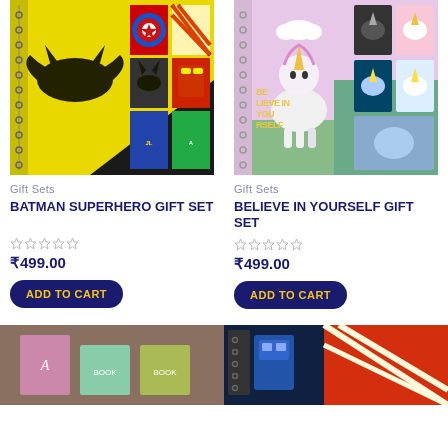[Figure (photo): Batman Superhero Gift Set product image - yellow notebook with Batman logo and superhero themed notebook covers]
Gift Sets
BATMAN SUPERHERO GIFT SET
₹499.00
ADD TO CART
[Figure (photo): Believe In Yourself Gift Set product image - pink unicorn themed notebook with unicorn sticker set]
Gift Sets
BELIEVE IN YOURSELF GIFT SET
₹499.00
ADD TO CART
[Figure (photo): Partial product image bottom left - brown background with colorful notebook cover]
[Figure (photo): Partial product image bottom right - dark blue background with robot/transformer themed design]